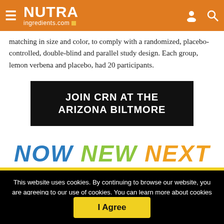NUTRA ingredients.com
matching in size and color, to comply with a randomized, placebo-controlled, double-blind and parallel study design. Each group, lemon verbena and placebo, had 20 participants.
[Figure (infographic): Black banner advertisement: JOIN CRN AT THE ARIZONA BILTMORE]
[Figure (infographic): NOW NEW NEXT text in blue, green, and orange italic bold font]
This website uses cookies. By continuing to browse our website, you are agreeing to our use of cookies. You can learn more about cookies by visiting our privacy & cookies policy page.